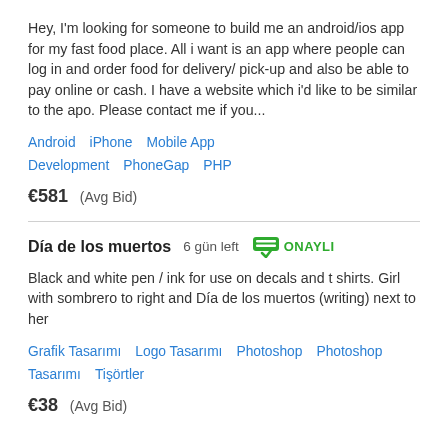Hey, I'm looking for someone to build me an android/ios app for my fast food place. All i want is an app where people can log in and order food for delivery/ pick-up and also be able to pay online or cash. I have a website which i'd like to be similar to the apo. Please contact me if you...
Android   iPhone   Mobile App Development   PhoneGap   PHP
€581   (Avg Bid)
Día de los muertos   6 gün left   ONAYLI
Black and white pen / ink for use on decals and t shirts. Girl with sombrero to right and Día de los muertos (writing) next to her
Grafik Tasarımı   Logo Tasarımı   Photoshop   Photoshop Tasarımı   Tişörtler
€38   (Avg Bid)